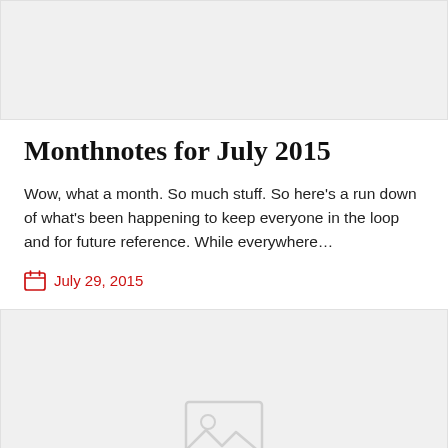[Figure (photo): Gray placeholder image area at the top of the page]
Monthnotes for July 2015
Wow, what a month. So much stuff. So here’s a run down of what’s been happening to keep everyone in the loop and for future reference. While everywhere…
July 29, 2015
[Figure (photo): Gray placeholder image area at the bottom of the page with an image placeholder icon]